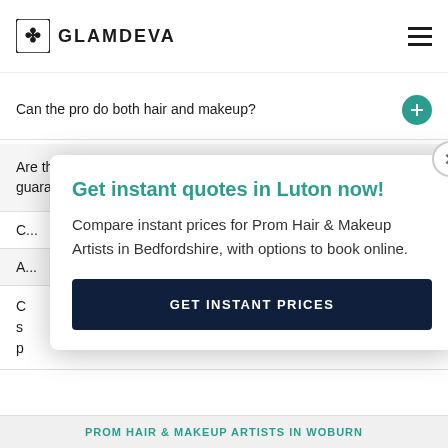GLAMDEVA
Can the pro do both hair and makeup?
Are the prom hair and makeup prices guaranteed online?
Get instant quotes in Luton now!
Compare instant prices for Prom Hair & Makeup Artists in Bedfordshire, with options to book online.
GET INSTANT PRICES
PROM HAIR & MAKEUP ARTISTS IN WOBURN